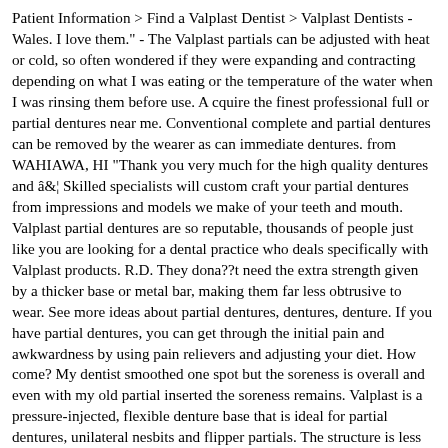Patient Information > Find a Valplast Dentist > Valplast Dentists - Wales. I love them." - The Valplast partials can be adjusted with heat or cold, so often wondered if they were expanding and contracting depending on what I was eating or the temperature of the water when I was rinsing them before use. A cquire the finest professional full or partial dentures near me. Conventional complete and partial dentures can be removed by the wearer as can immediate dentures. from WAHIAWA, HI "Thank you very much for the high quality dentures and â¦ Skilled specialists will custom craft your partial dentures from impressions and models we make of your teeth and mouth. Valplast partial dentures are so reputable, thousands of people just like you are looking for a dental practice who deals specifically with Valplast products. R.D. They don’t need the extra strength given by a thicker base or metal bar, making them far less obtrusive to wear. See more ideas about partial dentures, dentures, denture. If you have partial dentures, you can get through the initial pain and awkwardness by using pain relievers and adjusting your diet. How come? My dentist smoothed one spot but the soreness is overall and even with my old partial inserted the soreness remains. Valplast is a pressure-injected, flexible denture base that is ideal for partial dentures, unilateral nesbits and flipper partials. The structure is less bulky, stiff, and rigid than acrylic dentures. Partial Dentures. Removable Complete Denture prosthetics are a viable solution when complete loss of teeth has occurred, yet â¦ We can create your Flexible Partial